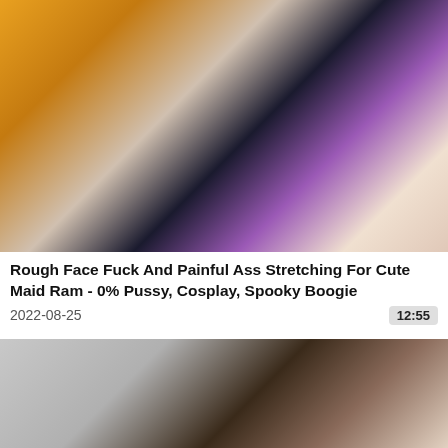[Figure (photo): Video thumbnail showing cosplay maid character with pink hair and another figure, orange and dark background]
Rough Face Fuck And Painful Ass Stretching For Cute Maid Ram - 0% Pussy, Cosplay, Spooky Boogie
2022-08-25
12:55
[Figure (photo): Video thumbnail showing two people, one with glasses and dark hair, gray background]